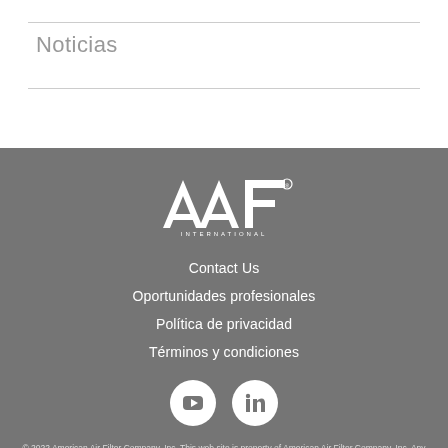Noticias
[Figure (logo): AAF International logo in white on grey background]
Contact Us
Oportunidades profesionales
Política de privacidad
Términos y condiciones
[Figure (other): YouTube and LinkedIn social media icons as white circles]
© 2022 American Air Filter Company, Inc. This web site is property of American Air Filter Company, Inc. Any use of the text or images it contains, without permission of American Air Filter Company, Inc., is prohibited